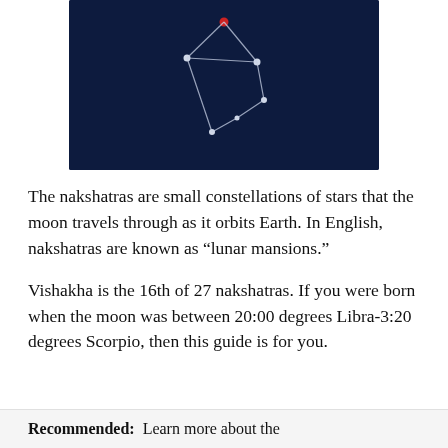[Figure (illustration): Constellation diagram on a dark navy background showing stars connected by white lines forming the Vishakha nakshatra pattern, with one red star at top and several white stars connected by lines.]
The nakshatras are small constellations of stars that the moon travels through as it orbits Earth. In English, nakshatras are known as “lunar mansions.”
Vishakha is the 16th of 27 nakshatras. If you were born when the moon was between 20:00 degrees Libra-3:20 degrees Scorpio, then this guide is for you.
Recommended: Learn more about the